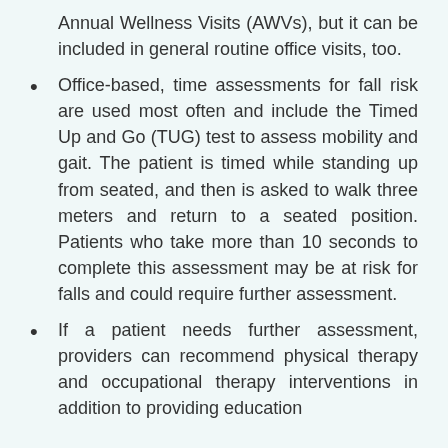Annual Wellness Visits (AWVs), but it can be included in general routine office visits, too.
Office-based, time assessments for fall risk are used most often and include the Timed Up and Go (TUG) test to assess mobility and gait. The patient is timed while standing up from seated, and then is asked to walk three meters and return to a seated position. Patients who take more than 10 seconds to complete this assessment may be at risk for falls and could require further assessment.
If a patient needs further assessment, providers can recommend physical therapy and occupational therapy interventions in addition to providing education